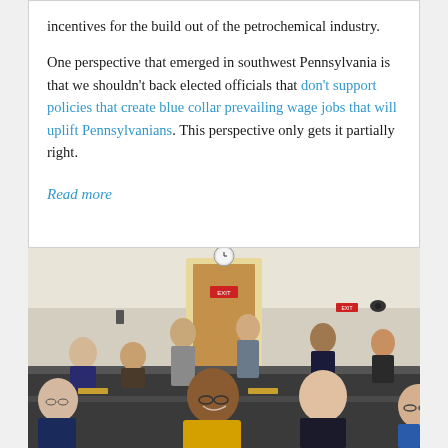incentives for the build out of the petrochemical industry.

One perspective that emerged in southwest Pennsylvania is that we shouldn't back elected officials that don't support policies that create blue collar prevailing wage jobs that will uplift Pennsylvanians. This perspective only gets it partially right.
Read more
[Figure (photo): A group of people sitting and standing in what appears to be a government hearing room or committee chamber. A woman in a yellow jacket is smiling prominently in the foreground. Other attendees are visible in the background near a wooden door.]